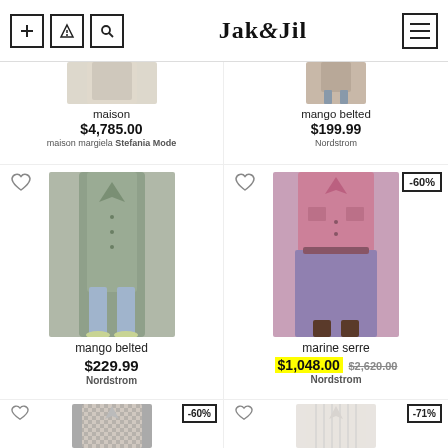Jak&Jil
[Figure (photo): Partial product image - maison margiela coat, top cropped]
maison
$4,785.00
maison margiela Stefania Mode
[Figure (photo): Partial product image - mango belted dress, feet/legs visible]
mango belted
$199.99
Nordstrom
[Figure (photo): Full product photo - mango belted trench coat in olive/sage green, model wearing with jeans]
mango belted
$229.99
Nordstrom
[Figure (photo): Full product photo - marine serre pink/purple shirt dress with belt, -60% badge]
marine serre
$1,048.00 $2,620.00
Nordstrom
[Figure (photo): Partial product photo - checkered shirt dress, -60% badge]
[Figure (photo): Partial product photo - white/striped shirt dress, -71% badge]